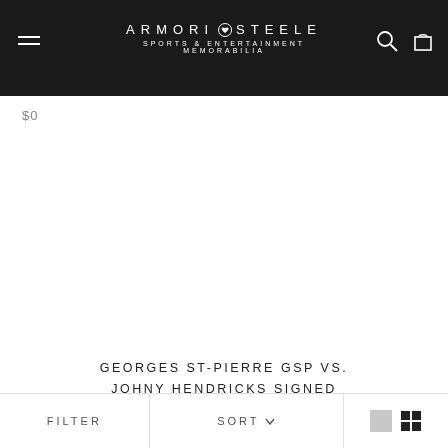ARMORI STEELE SPORTS & ENTERTAINMENT MEMORABILIA
$0
[Figure (photo): Blank product image area (no image loaded)]
GEORGES ST-PIERRE GSP VS. JOHNY HENDRICKS SIGNED BY GSP PHOTOGRAPH 20X16 AS-02400
FILTER   SORT   [view icons]